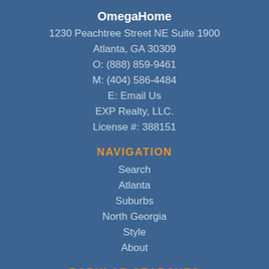OmegaHome
1230 Peachtree Street NE Suite 1900
Atlanta, GA 30309
O: (888) 859-9461
M: (404) 586-4484
E: Email Us
EXP Realty, LLC.
License #: 388151
NAVIGATION
Search
Atlanta
Suburbs
North Georgia
Style
About
POPULAR SEARCHES